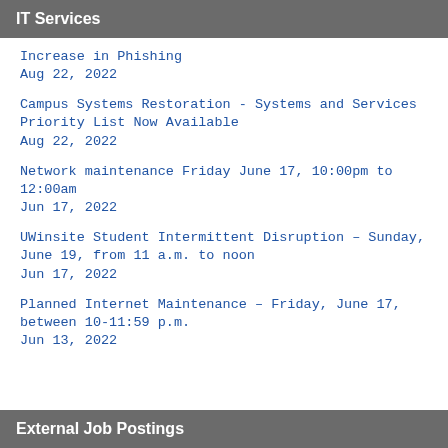IT Services
Increase in Phishing
Aug 22, 2022
Campus Systems Restoration - Systems and Services Priority List Now Available
Aug 22, 2022
Network maintenance Friday June 17, 10:00pm to 12:00am
Jun 17, 2022
UWinsite Student Intermittent Disruption – Sunday, June 19, from 11 a.m. to noon
Jun 17, 2022
Planned Internet Maintenance – Friday, June 17, between 10-11:59 p.m.
Jun 13, 2022
External Job Postings